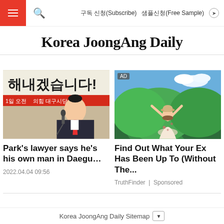구독 신청(Subscribe)  샘플신청(Free Sample)
Korea JoongAng Daily
[Figure (photo): Korean politician Park speaking at a podium with a microphone, Korean text banner in background reading 해내겠습니다!]
[Figure (photo): AD: Woman with hat standing on a mountain overlook with arms raised, green forested hills in background]
Park's lawyer says he's his own man in Daegu…
Find Out What Your Ex Has Been Up To (Without The...
2022.04.04 09:56
TruthFinder  |  Sponsored
Korea JoongAng Daily Sitemap